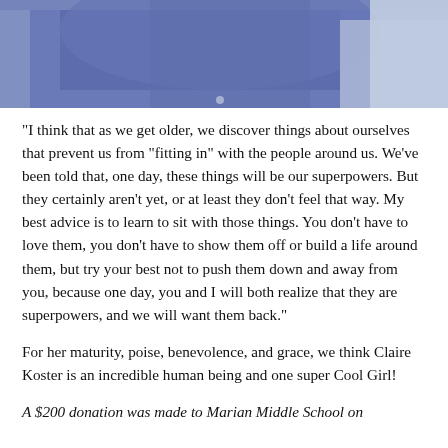[Figure (photo): Partial photo of a person wearing a blue/navy shirt, cropped to show torso area, visible at the top of the page.]
“I think that as we get older, we discover things about ourselves that prevent us from “fitting in” with the people around us. We’ve been told that, one day, these things will be our superpowers. But they certainly aren’t yet, or at least they don’t feel that way. My best advice is to learn to sit with those things. You don’t have to love them, you don’t have to show them off or build a life around them, but try your best not to push them down and away from you, because one day, you and I will both realize that they are superpowers, and we will want them back.”
For her maturity, poise, benevolence, and grace, we think Claire Koster is an incredible human being and one super Cool Girl!
A $200 donation was made to Marian Middle School on